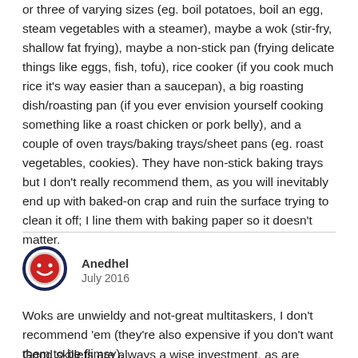or three of varying sizes (eg. boil potatoes, boil an egg, steam vegetables with a steamer), maybe a wok (stir-fry, shallow fat frying), maybe a non-stick pan (frying delicate things like eggs, fish, tofu), rice cooker (if you cook much rice it's way easier than a saucepan), a big roasting dish/roasting pan (if you ever envision yourself cooking something like a roast chicken or pork belly), and a couple of oven trays/baking trays/sheet pans (eg. roast vegetables, cookies). They have non-stick baking trays but I don't really recommend them, as you will inevitably end up with baked-on crap and ruin the surface trying to clean it off; I line them with baking paper so it doesn't matter.
[Figure (other): User avatar: red smiley face on white background with dark navy border circle]
Anedhel
July 2016
Woks are unwieldy and not-great multitaskers, I don't recommend 'em (they're also expensive if you don't want them to be flimsy).
Good skillets are always a wise investment, as are different-sized saucepans, since you can do a lot of things with them